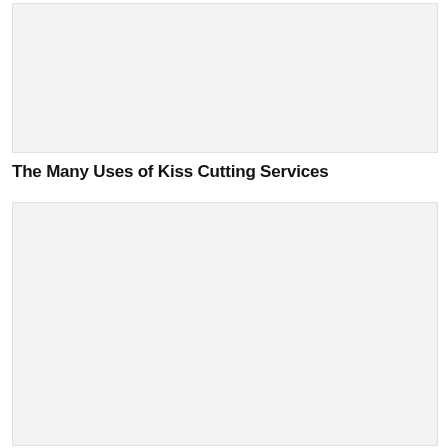[Figure (photo): Top image placeholder, light gray background]
The Many Uses of Kiss Cutting Services
[Figure (photo): Bottom image placeholder, light gray background]